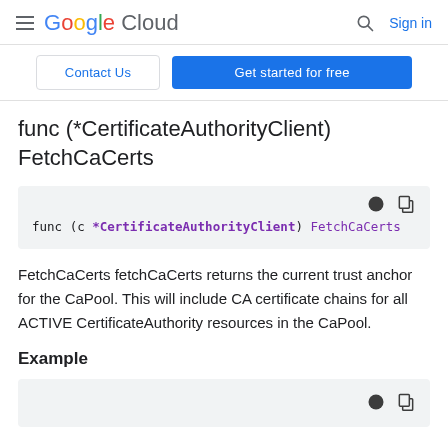Google Cloud — Search — Sign in
Contact Us | Get started for free
func (*CertificateAuthorityClient) FetchCaCerts
[Figure (screenshot): Code block showing: func (c *CertificateAuthorityClient) FetchCaCerts]
FetchCaCerts fetchCaCerts returns the current trust anchor for the CaPool. This will include CA certificate chains for all ACTIVE CertificateAuthority resources in the CaPool.
Example
[Figure (screenshot): Code block bottom area with copy/theme icons]